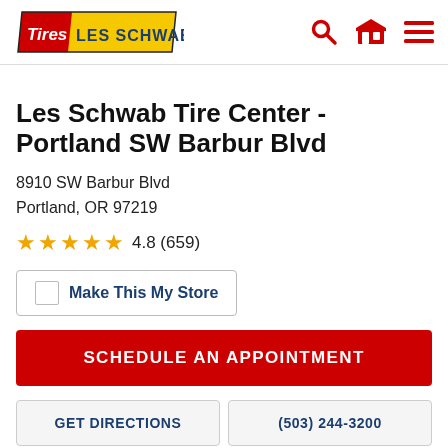[Figure (logo): Les Schwab Tires logo - red and yellow banner with white text]
Les Schwab Tire Center - Portland SW Barbur Blvd
8910 SW Barbur Blvd
Portland, OR 97219
4.8 (659)
Make This My Store
SCHEDULE AN APPOINTMENT
GET DIRECTIONS
(503) 244-3200
WHY CHOOSE LES SCHWAB